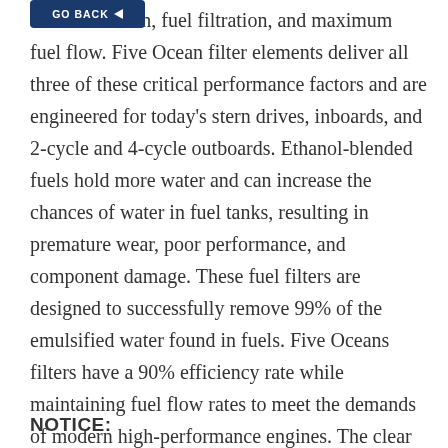[Figure (other): A dark blue 'GO BACK' button with a left-pointing arrow]
water separation, fuel filtration, and maximum fuel flow. Five Ocean filter elements deliver all three of these critical performance factors and are engineered for today's stern drives, inboards, and 2-cycle and 4-cycle outboards. Ethanol-blended fuels hold more water and can increase the chances of water in fuel tanks, resulting in premature wear, poor performance, and component damage. These fuel filters are designed to successfully remove 99% of the emulsified water found in fuels. Five Oceans filters have a 90% efficiency rate while maintaining fuel flow rates to meet the demands of modern high-performance engines. The clear plastic see-thru bowl is for outboard installations only.
NOTICE: